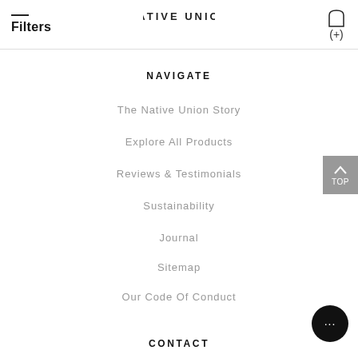NATIVE UNION
Filters (+)
NAVIGATE
The Native Union Story
Explore All Products
Reviews & Testimonials
Sustainability
Journal
Sitemap
Our Code Of Conduct
CONTACT